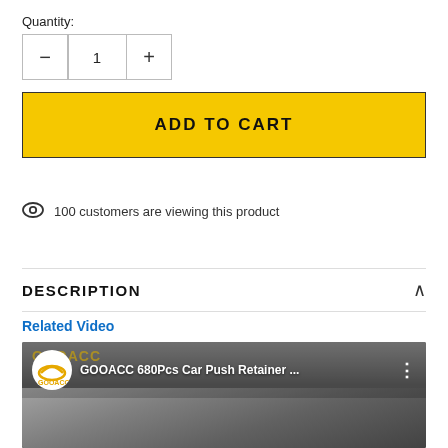Quantity:
— 1 +
ADD TO CART
100 customers are viewing this product
DESCRIPTION
Related Video
[Figure (screenshot): Video thumbnail showing GOOACC 680Pcs Car Push Retainer with channel logo and engine bay background]